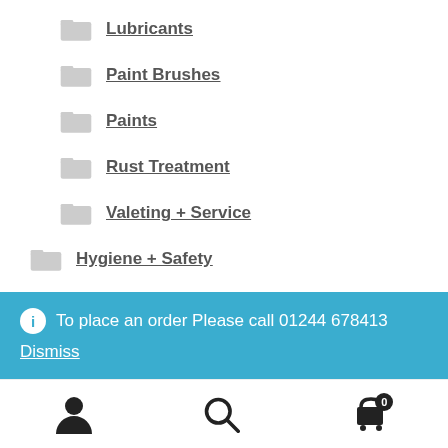Lubricants
Paint Brushes
Paints
Rust Treatment
Valeting + Service
Hygiene + Safety
Body & Head Protection
Disposable Gloves
Eye Protection
To place an order Please call 01244 678413
Dismiss